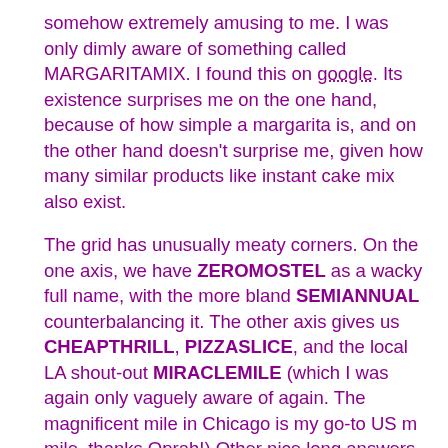somehow extremely amusing to me. I was only dimly aware of something called MARGARITAMIX. I found this on google. Its existence surprises me on the one hand, because of how simple a margarita is, and on the other hand doesn't surprise me, given how many similar products like instant cake mix also exist.
The grid has unusually meaty corners. On the one axis, we have ZEROMOSTEL as a wacky full name, with the more bland SEMIANNUAL counterbalancing it. The other axis gives us CHEAPTHRILL, PIZZASLICE, and the local LA shout-out MIRACLEMILE (which I was again only vaguely aware of again. The magnificent mile in Chicago is my go-to US m mile, thanks Oprah!) Other nice long answers were BEANBAGS INUNISON and the ancient history name [First-century Judean monarch Herod ___].